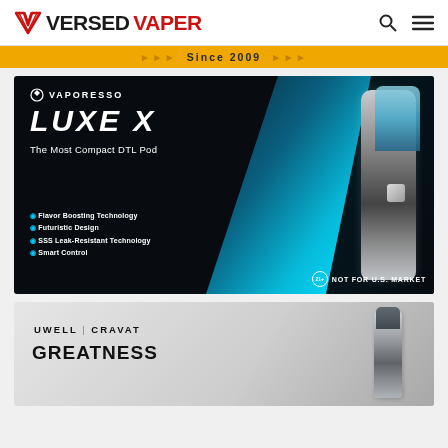VERSED VAPER
[Figure (infographic): Yellow banner with text 'Since 2009' and arrow chevrons on both sides]
[Figure (photo): Vaporesso LUXE X advertisement - dark blue/black background with vape device. Text: VAPORESSO, LUXE X, The Most Compact DTL Pod, Flavor Boosting Technology, Futuristic Design, SSS Leak-Resistant Technology, Smart Control, NOT FOR U.S. MARKET, 21+]
[Figure (photo): Uwell Cravat advertisement - grey background with vape pen device on right. Text: UWELL | CRAVAT, GREATNESS]